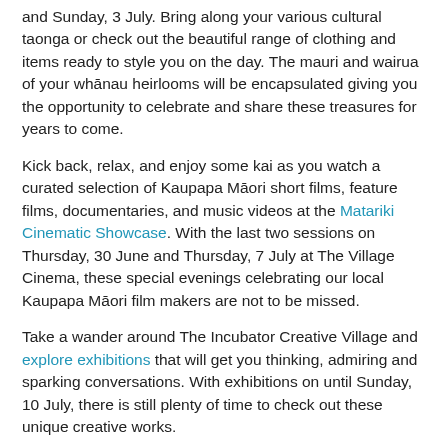and Sunday, 3 July. Bring along your various cultural taonga or check out the beautiful range of clothing and items ready to style you on the day. The mauri and wairua of your whānau heirlooms will be encapsulated giving you the opportunity to celebrate and share these treasures for years to come.
Kick back, relax, and enjoy some kai as you watch a curated selection of Kaupapa Māori short films, feature films, documentaries, and music videos at the Matariki Cinematic Showcase. With the last two sessions on Thursday, 30 June and Thursday, 7 July at The Village Cinema, these special evenings celebrating our local Kaupapa Māori film makers are not to be missed.
Take a wander around The Incubator Creative Village and explore exhibitions that will get you thinking, admiring and sparking conversations. With exhibitions on until Sunday, 10 July, there is still plenty of time to check out these unique creative works.
Join the hunt for heavenly treasures with Tauranga Art Gallery's Matariki Star Hunt. The perfect way to spend some time with the whānau, this fun activity is open daily from 10am – 4pm until Sunday, 3 July.